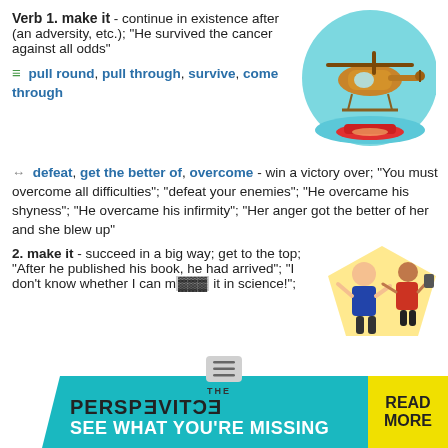Verb 1. make it - continue in existence after (an adversity, etc.); "He survived the cancer against all odds"
≡ pull round, pull through, survive, come through
[Figure (illustration): Cartoon illustration of a helicopter hovering over a small red boat on water, with a teal circular background.]
↔ defeat, get the better of, overcome - win a victory over; "You must overcome all difficulties"; "defeat your enemies"; "He overcame his shyness"; "He overcame his infirmity"; "Her anger got the better of her and she blew up"
2. make it - succeed in a big way; get to the top; "After he published his book, he had arrived"; "I don't know whether I can make it in science!";
[Figure (illustration): Cartoon illustration of two men celebrating, one holding a trophy, with an action/explosion background.]
[Figure (infographic): Advertisement banner: THE PERSPECTIVE - SEE WHAT YOU'RE MISSING with READ MORE button.]